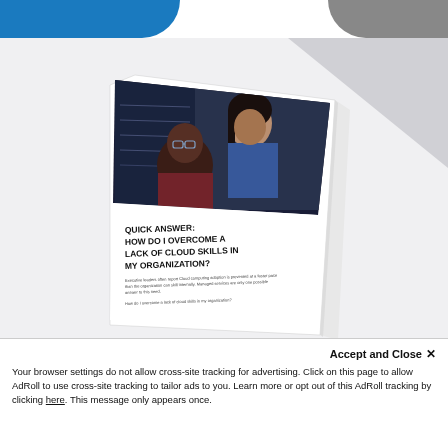[Figure (photo): A booklet/whitepaper shown at an angle. The cover shows two people (a man with glasses and a beard in a maroon shirt, and a woman in a blue jacket) looking at something together in a server room. The booklet title reads: 'QUICK ANSWER: HOW DO I OVERCOME A LACK OF CLOUD SKILLS IN MY ORGANIZATION?' with small body text below.]
Accept and Close ✕
Your browser settings do not allow cross-site tracking for advertising. Click on this page to allow AdRoll to use cross-site tracking to tailor ads to you. Learn more or opt out of this AdRoll tracking by clicking here. This message only appears once.